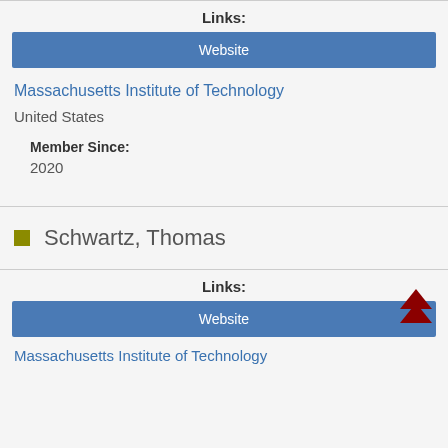Links:
Website
Massachusetts Institute of Technology
United States
Member Since:
2020
Schwartz, Thomas
Links:
Website
Massachusetts Institute of Technology